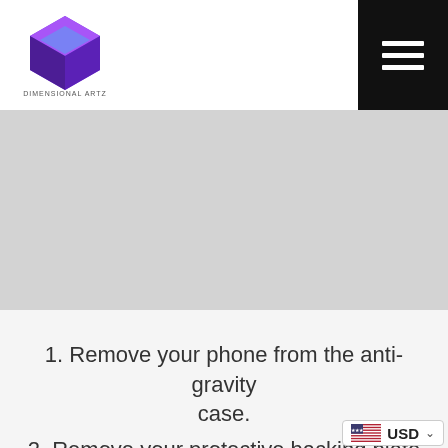[Figure (logo): Colorful 3D cube logo with purple and green tones, with small text below reading 'DIMENSIONAL ARTZ']
[Figure (photo): Partial product photo showing the bottom of a dark anti-gravity phone case against a light gray background]
1. Remove your phone from the anti-gravity case.
2. Remove your protective backing plate and keep it safe.
3. Place the case under a small amount of running water.
4. Gently rub the Anti-Gravity material with your
[Figure (other): USD currency selector with US flag icon and dropdown chevron]